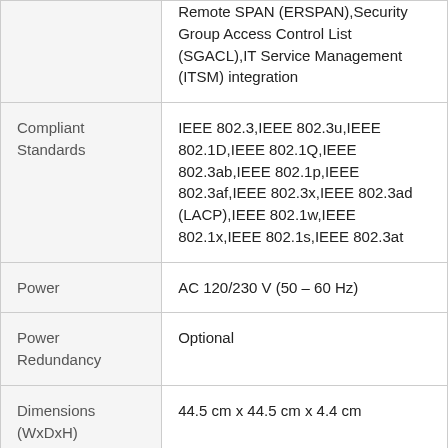|  | Remote SPAN (ERSPAN),Security Group Access Control List (SGACL),IT Service Management (ITSM) integration |
| Compliant Standards | IEEE 802.3,IEEE 802.3u,IEEE 802.1D,IEEE 802.1Q,IEEE 802.3ab,IEEE 802.1p,IEEE 802.3af,IEEE 802.3x,IEEE 802.3ad (LACP),IEEE 802.1w,IEEE 802.1x,IEEE 802.1s,IEEE 802.3at |
| Power | AC 120/230 V (50 – 60 Hz) |
| Power Redundancy | Optional |
| Dimensions (WxDxH) | 44.5 cm x 44.5 cm x 4.4 cm |